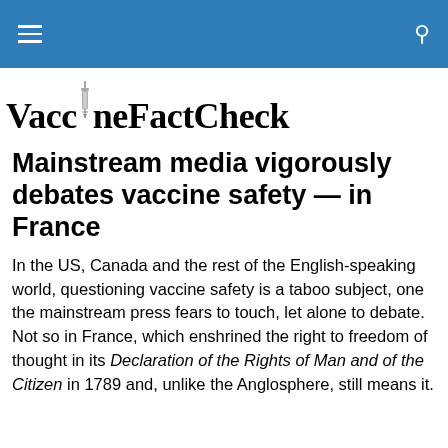VaccineFactCheck
[Figure (logo): VaccineFactCheck logo with syringe icon integrated into the text]
Mainstream media vigorously debates vaccine safety — in France
In the US, Canada and the rest of the English-speaking world, questioning vaccine safety is a taboo subject, one the mainstream press fears to touch, let alone to debate. Not so in France, which enshrined the right to freedom of thought in its Declaration of the Rights of Man and of the Citizen in 1789 and, unlike the Anglosphere, still means it.